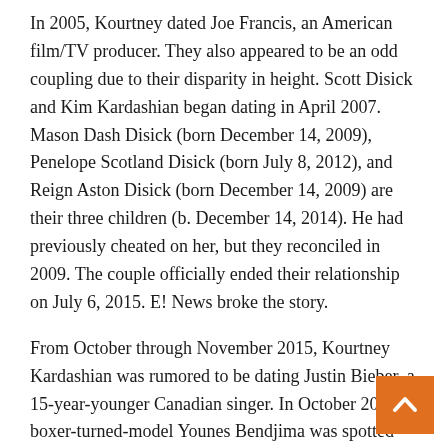In 2005, Kourtney dated Joe Francis, an American film/TV producer. They also appeared to be an odd coupling due to their disparity in height. Scott Disick and Kim Kardashian began dating in April 2007. Mason Dash Disick (born December 14, 2009), Penelope Scotland Disick (born July 8, 2012), and Reign Aston Disick (born December 14, 2009) are their three children (b. December 14, 2014). He had previously cheated on her, but they reconciled in 2009. The couple officially ended their relationship on July 6, 2015. E! News broke the story.
From October through November 2015, Kourtney Kardashian was rumored to be dating Justin Bieber, a 15-year-younger Canadian singer. In October 2016, boxer-turned-model Younes Bendjima was spotted with Kourtney. They started dating after